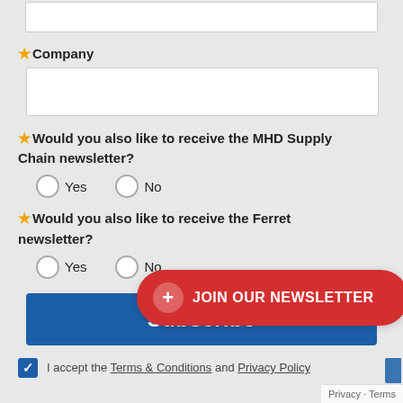(partial input field at top, cropped)
* Company
* Would you also like to receive the MHD Supply Chain newsletter?
Yes
No
* Would you also like to receive the Ferret newsletter?
Yes
No
Subscribe
+ JOIN OUR NEWSLETTER
I accept the Terms & Conditions and Privacy Policy
Privacy · Terms